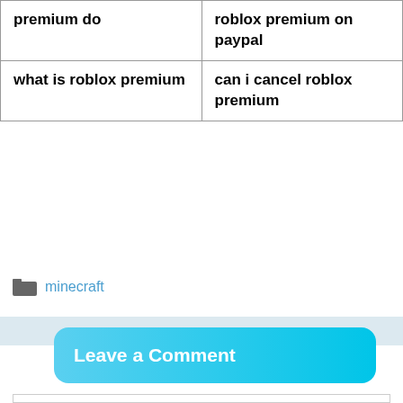| premium do | roblox premium on paypal |
| what is roblox premium | can i cancel roblox premium |
📁 minecraft
Leave a Comment